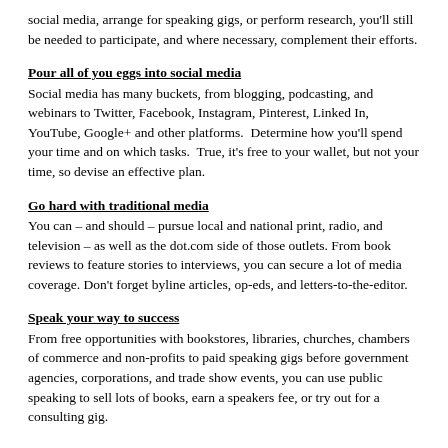social media, arrange for speaking gigs, or perform research, you'll still be needed to participate, and where necessary, complement their efforts.
Pour all of you eggs into social media
Social media has many buckets, from blogging, podcasting, and webinars to Twitter, Facebook, Instagram, Pinterest, Linked In, YouTube, Google+ and other platforms.  Determine how you'll spend your time and on which tasks.  True, it's free to your wallet, but not your time, so devise an effective plan.
Go hard with traditional media
You can – and should – pursue local and national print, radio, and television – as well as the dot.com side of those outlets. From book reviews to feature stories to interviews, you can secure a lot of media coverage. Don't forget byline articles, op-eds, and letters-to-the-editor.
Speak your way to success
From free opportunities with bookstores, libraries, churches, chambers of commerce and non-profits to paid speaking gigs before government agencies, corporations, and trade show events, you can use public speaking to sell lots of books, earn a speakers fee, or try out for a consulting gig.